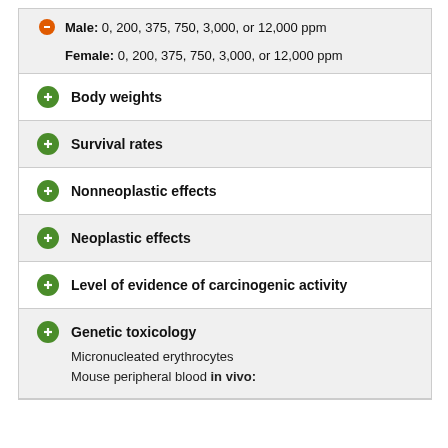Male: 0, 200, 375, 750, 3,000, or 12,000 ppm
Female: 0, 200, 375, 750, 3,000, or 12,000 ppm
Body weights
Survival rates
Nonneoplastic effects
Neoplastic effects
Level of evidence of carcinogenic activity
Genetic toxicology
Micronucleated erythrocytes
Mouse peripheral blood in vivo: